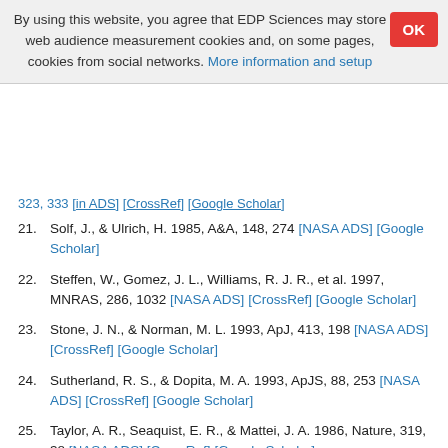By using this website, you agree that EDP Sciences may store web audience measurement cookies and, on some pages, cookies from social networks. More information and setup
21. Solf, J., & Ulrich, H. 1985, A&A, 148, 274 [NASA ADS] [Google Scholar]
22. Steffen, W., Gomez, J. L., Williams, R. J. R., et al. 1997, MNRAS, 286, 1032 [NASA ADS] [CrossRef] [Google Scholar]
23. Stone, J. N., & Norman, M. L. 1993, ApJ, 413, 198 [NASA ADS] [CrossRef] [Google Scholar]
24. Sutherland, R. S., & Dopita, M. A. 1993, ApJS, 88, 253 [NASA ADS] [CrossRef] [Google Scholar]
25. Taylor, A. R., Seaquist, E. R., & Mattei, J. A. 1986, Nature, 319, 38 [NASA ADS] [CrossRef] [Google Scholar]
26. Thiele, M. 2000, Ph.D. Thesis, University of Heidelberg